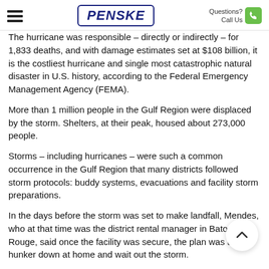PENSKE | Questions? Call Us
The hurricane was responsible – directly or indirectly – for 1,833 deaths, and with damage estimates set at $108 billion, it is the costliest hurricane and single most catastrophic natural disaster in U.S. history, according to the Federal Emergency Management Agency (FEMA).
More than 1 million people in the Gulf Region were displaced by the storm. Shelters, at their peak, housed about 273,000 people.
Storms – including hurricanes – were such a common occurrence in the Gulf Region that many districts followed storm protocols: buddy systems, evacuations and facility storm preparations.
In the days before the storm was set to make landfall, Mendes, who at that time was the district rental manager in Baton Rouge, said once the facility was secure, the plan was to hunker down at home and wait out the storm.
Commonplace anticipation soon turned to worry as the storm inched closer to landfall.